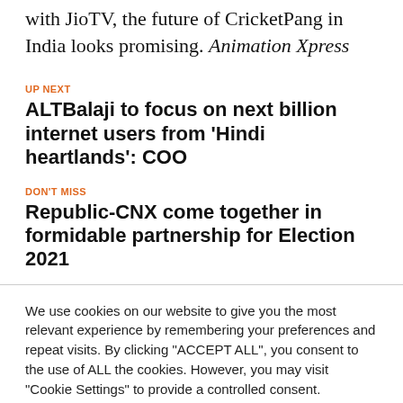with JioTV, the future of CricketPang in India looks promising. Animation Xpress
UP NEXT
ALTBalaji to focus on next billion internet users from 'Hindi heartlands': COO
DON'T MISS
Republic-CNX come together in formidable partnership for Election 2021
We use cookies on our website to give you the most relevant experience by remembering your preferences and repeat visits. By clicking "ACCEPT ALL", you consent to the use of ALL the cookies. However, you may visit "Cookie Settings" to provide a controlled consent.
Cookie Settings | REJECT ALL | ACCEPT ALL